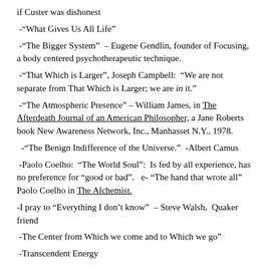if Custer was dishonest
-“What Gives Us All Life”
-“The Bigger System” – Eugene Gendlin, founder of Focusing, a body centered psychotherapeutic technique.
-“That Which is Larger”, Joseph Campbell: “We are not separate from That Which is Larger; we are in it.”
-“The Atmospheric Presence” – William James, in The Afterdeath Journal of an American Philosopher, a Jane Roberts book New Awareness Network, Inc., Manhasset N.Y., 1978.
-“The Benign Indifference of the Universe.” -Albert Camus
-Paolo Coelho: “The World Soul”: Is fed by all experience, has no preference for “good or bad”. e- “The hand that wrote all” Paolo Coelho in The Alchemist.
-I pray to “Everything I don’t know” – Steve Walsh, Quaker friend
-The Center from Which we come and to Which we go”
-Transcendent Energy